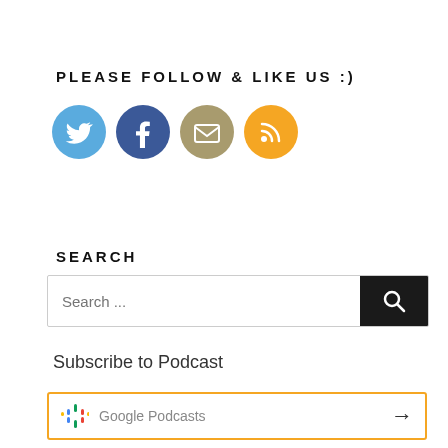PLEASE FOLLOW & LIKE US :)
[Figure (illustration): Four social media icon circles: Twitter (blue), Facebook (dark blue), Email/Mail (tan/khaki), RSS feed (orange)]
SEARCH
[Figure (screenshot): Search input box with placeholder text 'Search ...' and a black search button with magnifying glass icon]
Subscribe to Podcast
[Figure (screenshot): Google Podcasts subscription button with orange left border, Google Podcasts bar chart logo, 'Google Podcasts' text, and right arrow]